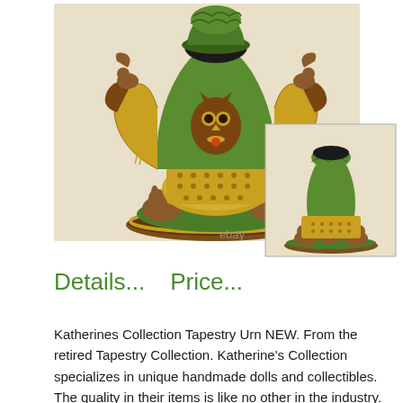[Figure (photo): Katherine's Collection Tapestry Urn figurine — an ornate decorative urn with owl motif, squirrel figures, and rabbits at the base, shown in main view and a smaller thumbnail view. eBay watermark visible.]
Details...    Price...
Katherines Collection Tapestry Urn NEW. From the retired Tapestry Collection. Katherine's Collection specializes in unique handmade dolls and collectibles. The quality in their items is like no other in the industry. I have personally been to their headquarters and have seen first hand the magic that these talented craftmakers put to life.